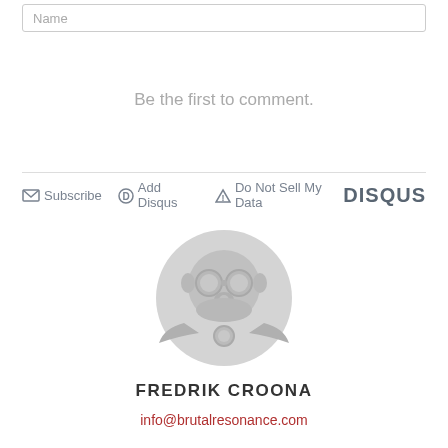Name
Be the first to comment.
Subscribe  Add Disqus  Do Not Sell My Data  DISQUS
[Figure (illustration): Circular avatar placeholder with a stylized skull/gas-mask icon in grey tones]
FREDRIK CROONA
info@brutalresonance.com